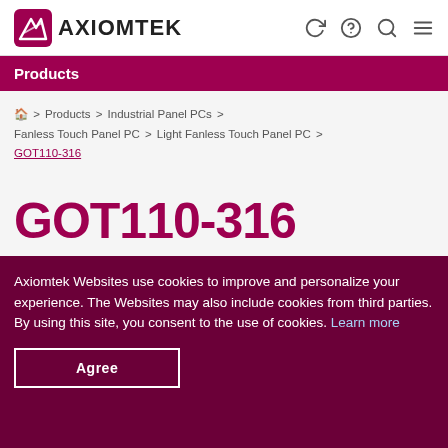[Figure (logo): Axiomtek logo with stylized X icon and AXIOMTEK text]
Products
Home > Products > Industrial Panel PCs > Fanless Touch Panel PC > Light Fanless Touch Panel PC > GOT110-316
GOT110-316
10.4" XGA TFT Fanless Touch Panel Computer with Intel® Pentium® Processor N4200
Status: Available
Axiomtek Websites use cookies to improve and personalize your experience. The Websites may also include cookies from third parties. By using this site, you consent to the use of cookies. Learn more
Agree